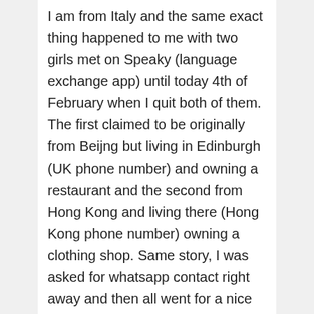I am from Italy and the same exact thing happened to me with two girls met on Speaky (language exchange app) until today 4th of February when I quit both of them. The first claimed to be originally from Beijng but living in Edinburgh (UK phone number) and owning a restaurant and the second from Hong Kong and living there (Hong Kong phone number) owning a clothing shop. Same story, I was asked for whatsapp contact right away and then all went for a nice easygoing chat with photos of both good looking girls, lasted almost one month. All of a sudden they said that they were making money with forex trade and